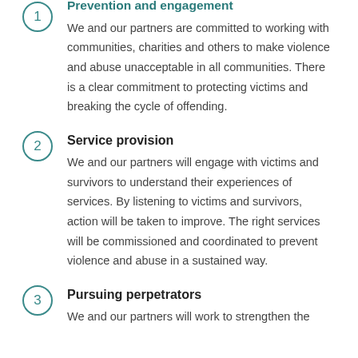Prevention and engagement
We and our partners are committed to working with communities, charities and others to make violence and abuse unacceptable in all communities. There is a clear commitment to protecting victims and breaking the cycle of offending.
Service provision
We and our partners will engage with victims and survivors to understand their experiences of services. By listening to victims and survivors, action will be taken to improve. The right services will be commissioned and coordinated to prevent violence and abuse in a sustained way.
Pursuing perpetrators
We and our partners will work to strengthen the